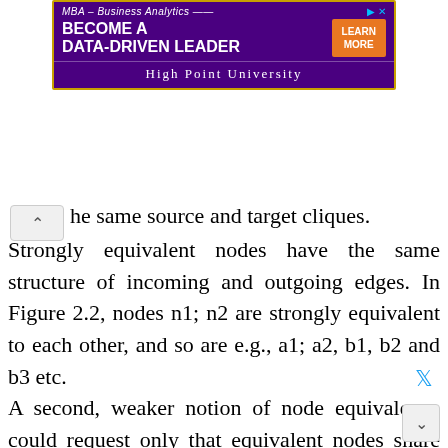[Figure (screenshot): Advertisement banner for High Point University MBA – Business Analytics program. Purple background with gold border. Text: 'MBA – Business Analytics', 'BECOME A DATA-DRIVEN LEADER', orange 'LEARN MORE' button, and 'HIGH POINT UNIVERSITY' at bottom.]
he same source and target cliques.
Strongly equivalent nodes have the same structure of incoming and outgoing edges. In Figure 2.2, nodes n1; n2 are strongly equivalent to each other, and so are e.g., a1; a2, b1, b2 and b3 etc. A second, weaker notion of node equivalence could request only that equivalent nodes share the same incoming or outgoing structure, i.e., they share the same source clique or the same target clique. Figure illustrates this. Nodes x1; x2 have the same source clique because they both have outgoing y edges. Fu x2 and x3 have the same target clique because both ...